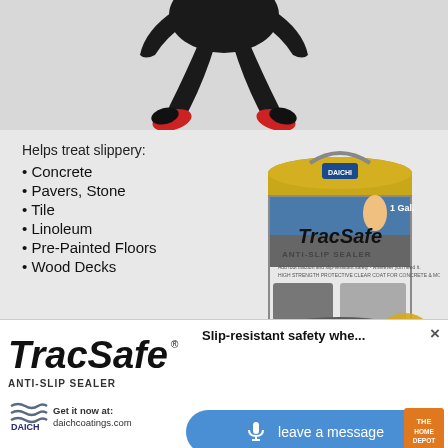[Figure (photo): Person photographed upside down, wearing dark clothes and shoes, simulating a slip/fall on a slippery surface. Top portion of the ad image.]
Helps treat slippery:
• Concrete
• Pavers, Stone
• Tile
• Linoleum
• Pre-Painted Floors
• Wood Decks
[Figure (photo): TracSafe Anti-Slip Sealer product can (1 Gal.), gold and gray metal paint can with TracSafe branding and Golden Hammer award medallion.]
[Figure (logo): Daich Coatings logo with blue wave graphic and text 'DAICH COATINGS']
Get it now at: daichcoatings.com
and online at The Home Depot
[Figure (logo): The Home Depot orange logo]
[Figure (logo): TracSafe Anti-Slip Sealer brand logo in italic bold font]
Slip-resistant safety whe...
[Figure (logo): Daich Coatings small logo]
Get it now at: daichcoatings.com
[Figure (logo): The Home Depot small logo]
leave a message